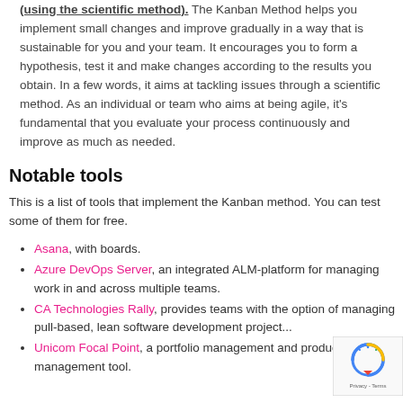(using the scientific method). The Kanban Method helps you implement small changes and improve gradually in a way that is sustainable for you and your team. It encourages you to form a hypothesis, test it and make changes according to the results you obtain. In a few words, it aims at tackling issues through a scientific method. As an individual or team who aims at being agile, it's fundamental that you evaluate your process continuously and improve as much as needed.
Notable tools
This is a list of tools that implement the Kanban method. You can test some of them for free.
Asana, with boards.
Azure DevOps Server, an integrated ALM-platform for managing work in and across multiple teams.
CA Technologies Rally, provides teams with the option of managing pull-based, lean software development projec...
Unicom Focal Point, a portfolio management and product management tool.